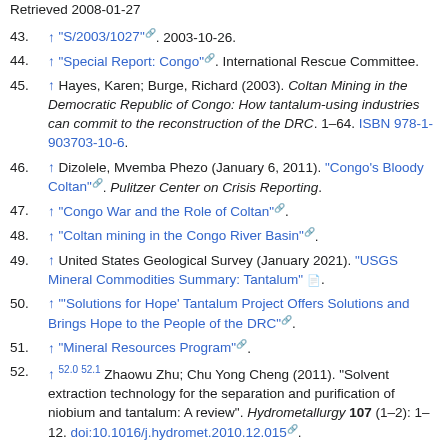Retrieved 2008-01-27
43. ↑ "S/2003/1027". 2003-10-26.
44. ↑ "Special Report: Congo". International Rescue Committee.
45. ↑ Hayes, Karen; Burge, Richard (2003). Coltan Mining in the Democratic Republic of Congo: How tantalum-using industries can commit to the reconstruction of the DRC. 1–64. ISBN 978-1-903703-10-6.
46. ↑ Dizolele, Mvemba Phezo (January 6, 2011). "Congo's Bloody Coltan". Pulitzer Center on Crisis Reporting.
47. ↑ "Congo War and the Role of Coltan".
48. ↑ "Coltan mining in the Congo River Basin".
49. ↑ United States Geological Survey (January 2021). "USGS Mineral Commodities Summary: Tantalum".
50. ↑ "'Solutions for Hope' Tantalum Project Offers Solutions and Brings Hope to the People of the DRC".
51. ↑ "Mineral Resources Program".
52. ↑ 52.0 52.1 Zhaowu Zhu; Chu Yong Cheng (2011). "Solvent extraction technology for the separation and purification of niobium and tantalum: A review". Hydrometallurgy 107 (1–2): 1–12. doi:10.1016/j.hydromet.2010.12.015.